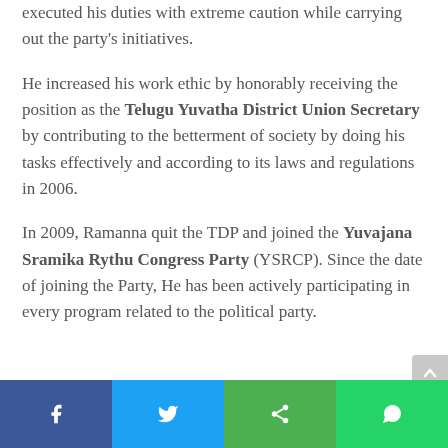executed his duties with extreme caution while carrying out the party's initiatives.
He increased his work ethic by honorably receiving the position as the Telugu Yuvatha District Union Secretary by contributing to the betterment of society by doing his tasks effectively and according to its laws and regulations in 2006.
In 2009, Ramanna quit the TDP and joined the Yuvajana Sramika Rythu Congress Party (YSRCP). Since the date of joining the Party, He has been actively participating in every program related to the political party.
[Figure (infographic): Social share bar with four buttons: Facebook (blue), Twitter (light blue), Share (green), WhatsApp (green)]